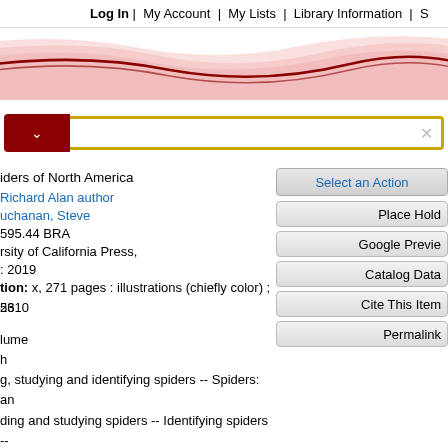Log In | My Account | My Lists | Library Information | S
[Figure (illustration): Decorative red wave banner for library catalog website header]
[Figure (screenshot): Search bar with dark red dropdown and yellow-bordered text input field with X clear button]
iders of North America
Richard Alan author
uchanan, Steve
595.44 BRA
rsity of California Press,
: 2019
tion: x, 271 pages : illustrations (chiefly color) ; 26
5310
lume
h
g, studying and identifying spiders -- Spiders: an
ding and studying spiders -- Identifying spiders --
ithin groups -- Debris group -- Space-filling web
Select an Action
Place Hold
Google Previe
Catalog Data
Cite This Item
Permalink